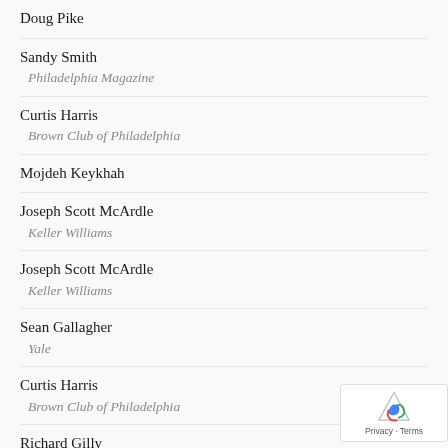Doug Pike
Sandy Smith
Philadelphia Magazine
Curtis Harris
Brown Club of Philadelphia
Mojdeh Keykhah
Joseph Scott McArdle
Keller Williams
Joseph Scott McArdle
Keller Williams
Sean Gallagher
Yale
Curtis Harris
Brown Club of Philadelphia
Richard Gilly
Archer & Greiner
Jackie Owusu McKenzie